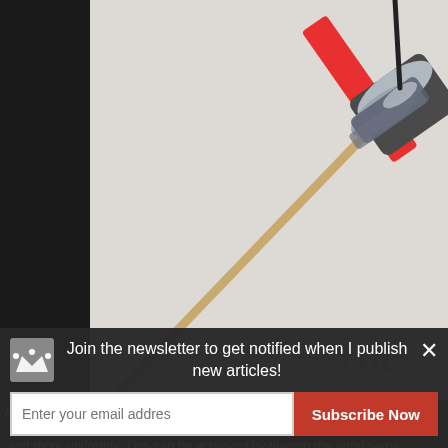[Figure (photo): Close-up photo of a modified clamp holding a toothpick or wooden stick, with silver metallic components and red element, on a light/white background. Partially cropped. Watermark 'THE' visible in lower right corner.]
A modified clamp for using the miniatures as
-It's possible to use multiple anodes to have a higher current and/or faster and more uniformly. This can be achieved by placing the anod same distance from the miniature. A tube- or ring-shaped anode can be connected in different parts to the positive pole of the power supp
-The time it will take to clean a miniature will depend on a series of m
Join the newsletter to get notified when I publish new articles!